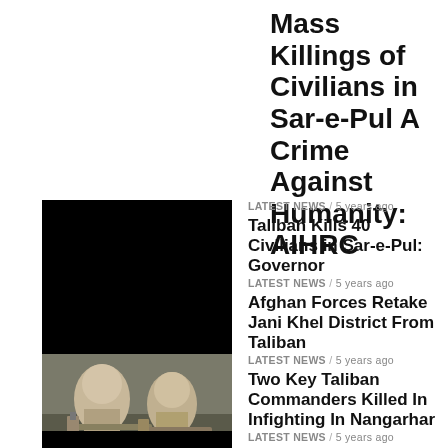Mass Killings of Civilians in Sar-e-Pul A Crime Against Humanity: AIHRC
LATEST NEWS / 5 years ago
Taliban Kills 40 Civilians in Sar-e-Pul: Governor
LATEST NEWS / 5 years ago
Afghan Forces Retake Jani Khel District From Taliban
LATEST NEWS / 5 years ago
Two Key Taliban Commanders Killed In Infighting In Nangarhar
LATEST NEWS / 5 years ago
Taliban Attacks Check Post in Ghazni, Kills Two Local Police
LATEST NEWS / 5 years ago
NDS Thwarts Massive Attack Plot